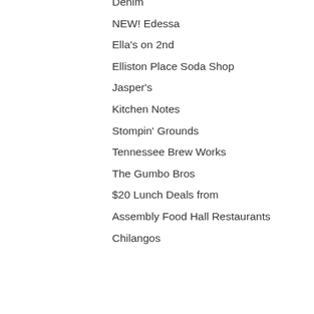Denim
NEW! Edessa
Ella's on 2nd
Elliston Place Soda Shop
Jasper's
Kitchen Notes
Stompin' Grounds
Tennessee Brew Works
The Gumbo Bros
$20 Lunch Deals from
Assembly Food Hall Restaurants
Chilangos